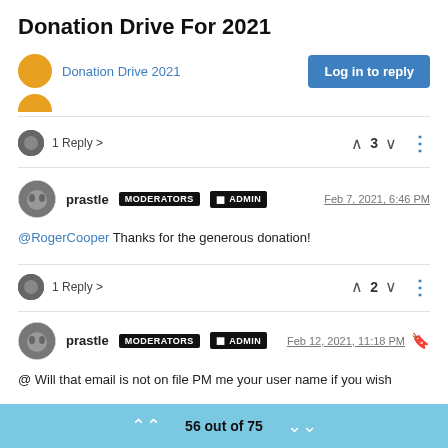Donation Drive For 2021
Donation Drive 2021
Log in to reply
1 Reply >  ^  3  v  :
prastle MODERATORS ADMIN  Feb 7, 2021, 6:46 PM
@RogerCooper Thanks for the generous donation!
1 Reply >  ^  2  v  :
prastle MODERATORS ADMIN  Feb 12, 2021, 11:18 PM
@ Will that email is not on file PM me your user name if you wish
56 out of 75